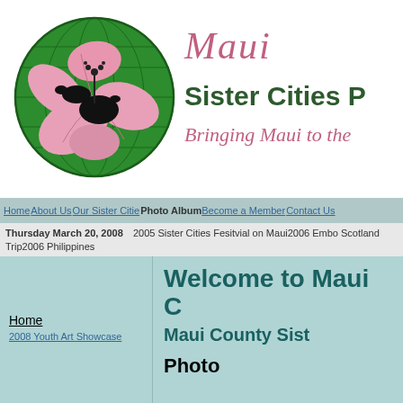[Figure (logo): Maui Sister Cities logo: a green globe circle with a pink hibiscus flower and black Hawaii island silhouette in the center]
Maui Sister Cities - Bringing Maui to ...
Home | About Us | Our Sister Cities | Photo Album | Become a Member | Contact Us
Thursday March 20, 2008   2005 Sister Cities Fesitvial on Maui2006 Embo Scotland Trip2006 Philippines 2007 Sister Cities International
Welcome to Maui C...
Maui County Sist...
Photo...
Home
2008 Youth Art Showcase